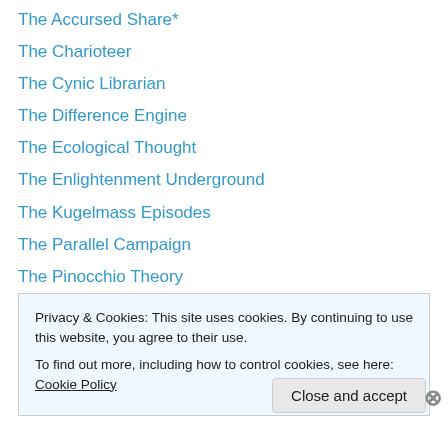The Accursed Share*
The Charioteer
The Cynic Librarian
The Difference Engine
The Ecological Thought
The Enlightenment Underground
The Kugelmass Episodes
The Parallel Campaign
The Pinocchio Theory
The Psychoanalytic Field
The Twins Shadow
The Valve
The Whim
Privacy & Cookies: This site uses cookies. By continuing to use this website, you agree to their use. To find out more, including how to control cookies, see here: Cookie Policy
Close and accept